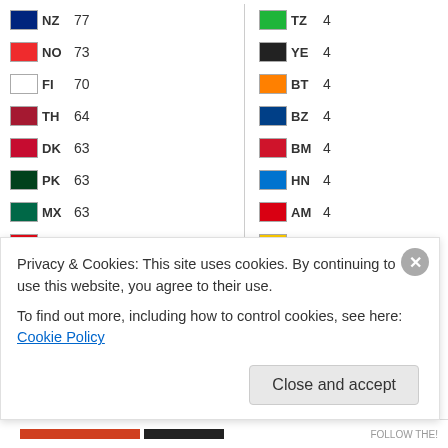| Flag | Code | Count | Flag | Code | Count |
| --- | --- | --- | --- | --- | --- |
| NZ | 77 | TZ | 4 |
| NO | 73 | YE | 4 |
| FI | 70 | BT | 4 |
| TH | 64 | BZ | 4 |
| DK | 63 | BM | 4 |
| PK | 63 | HN | 4 |
| MX | 63 | AM | 4 |
| TR | 60 | MM | 3 |
| KR | 55 | BB | 3 |
| HK | 53 | CW | 3 |
| CH | 53 | KZ | 3 |
| RO | 51 | SV | 3 |
| AE | 49 | GG | 3 |
| TW | 48 | BY | 3 |
| AR | 47 | MO | 3 |
| GR | 47 | NI | 3 |
| PT | 46 | TN | 3 |
| CO | 46 | ZW | 3 |
| AT | 43 | SK | 3 |
| IL | 42 | LC | 3 |
| LV | 37 | PF | 3 |
Privacy & Cookies: This site uses cookies. By continuing to use this website, you agree to their use.
To find out more, including how to control cookies, see here: Cookie Policy